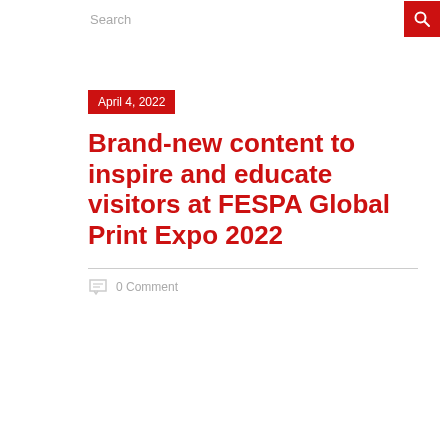Search
April 4, 2022
Brand-new content to inspire and educate visitors at FESPA Global Print Expo 2022
0 Comment